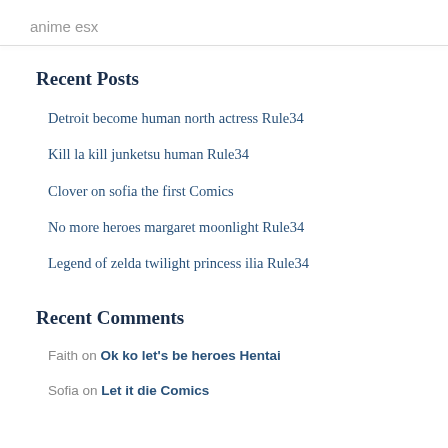anime esx
Recent Posts
Detroit become human north actress Rule34
Kill la kill junketsu human Rule34
Clover on sofia the first Comics
No more heroes margaret moonlight Rule34
Legend of zelda twilight princess ilia Rule34
Recent Comments
Faith on Ok ko let's be heroes Hentai
Sofia on Let it die Comics